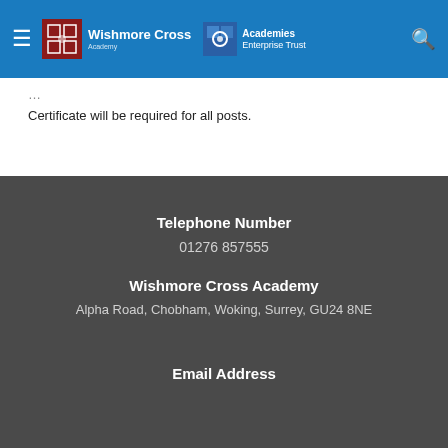Wishmore Cross | Academies Enterprise Trust
Certificate will be required for all posts.
Telephone Number
01276 857555
Wishmore Cross Academy
Alpha Road, Chobham, Woking, Surrey, GU24 8NE
Email Address